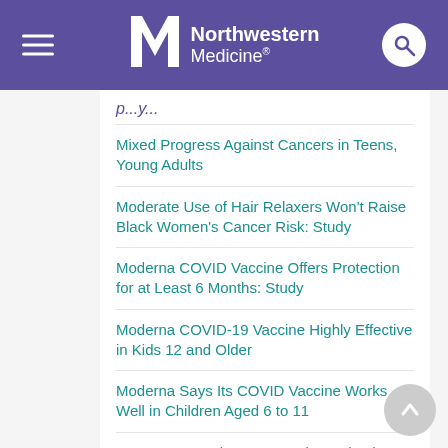Northwestern Medicine
Mixed Progress Against Cancers in Teens, Young Adults
Moderate Use of Hair Relaxers Won't Raise Black Women's Cancer Risk: Study
Moderna COVID Vaccine Offers Protection for at Least 6 Months: Study
Moderna COVID-19 Vaccine Highly Effective in Kids 12 and Older
Moderna Says Its COVID Vaccine Works Well in Children Aged 6 to 11
Mom's Depression Can Lead to Behavior Problems in Kids
Mom-to-Be's 'Leaky' Heart Valves May Pose